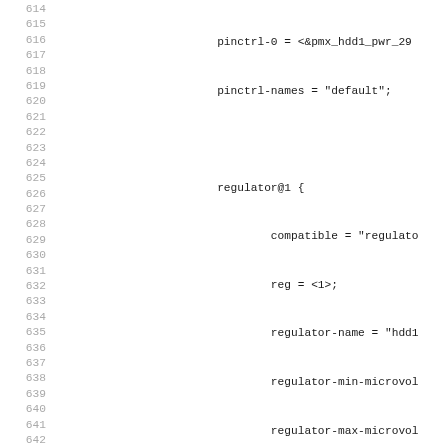Source code / device tree listing, lines 614–643, showing regulator@1 and regulator@2 node definitions with pinctrl, compatible, reg, regulator-name, regulator-min-microvolt, regulator-max-microvolt, enable-active-high, regulator-always-on, regulator-boot-on, startup-delay-us, and gpio properties.